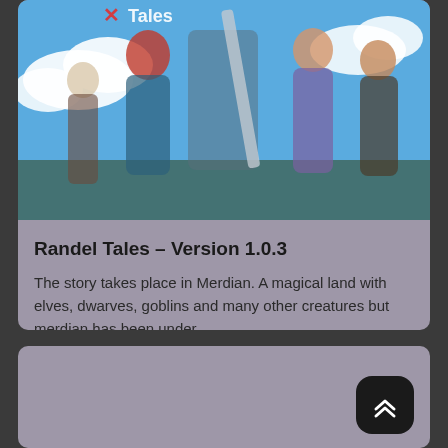[Figure (illustration): Anime-style game cover art showing several characters including a red-haired female warrior holding a large sword, with a blue sky and clouds in the background. Partial logo text 'Tales' visible at top left.]
Randel Tales – Version 1.0.3
The story takes place in Merdian. A magical land with elves, dwarves, goblins and many other creatures but merdian has been under...
[Figure (screenshot): Partial second card with gray background and a black rounded scroll-to-top button with double chevron up arrow icon at the bottom right.]